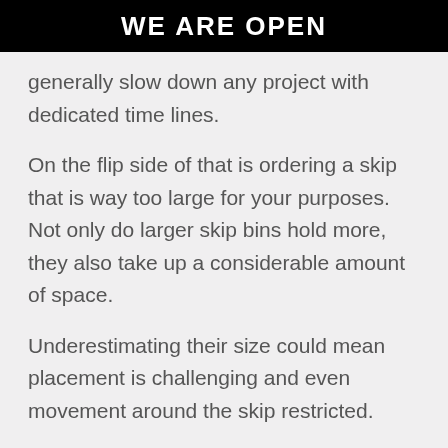WE ARE OPEN
generally slow down any project with dedicated time lines.
On the flip side of that is ordering a skip that is way too large for your purposes. Not only do larger skip bins hold more, they also take up a considerable amount of space.
Underestimating their size could mean placement is challenging and even movement around the skip restricted.
Don't let the hard work you've done planning to be rendered redundant due to a simple oversight.